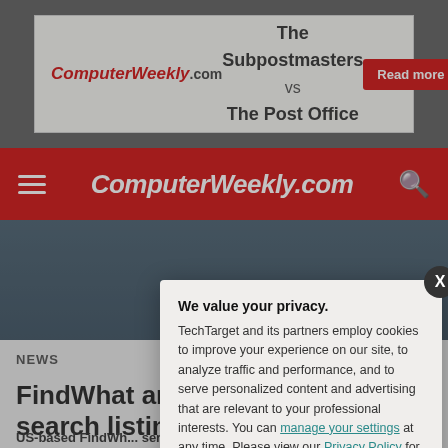[Figure (screenshot): Advertisement banner for ComputerWeekly.com featuring 'The Subpostmasters vs The Post Office' with a 'Read more here' button]
ComputerWeekly.com
NEWS
FindWhat ar... search listin...
US-based FindWh... service Espotting...
We value your privacy. TechTarget and its partners employ cookies to improve your experience on our site, to analyze traffic and performance, and to serve personalized content and advertising that are relevant to your professional interests. You can manage your settings at any time. Please view our Privacy Policy for more information